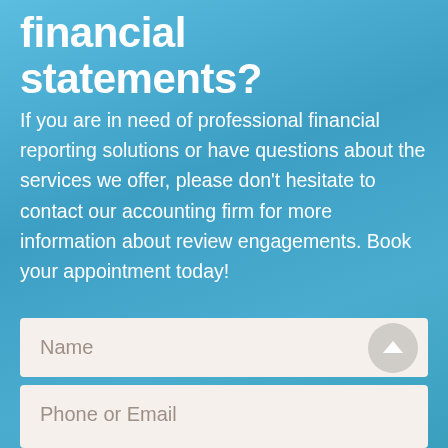financial statements?
If you are in need of professional financial reporting solutions or have questions about the services we offer, please don't hesitate to contact our accounting firm for more information about review engagements. Book your appointment today!
Name
Phone or Email